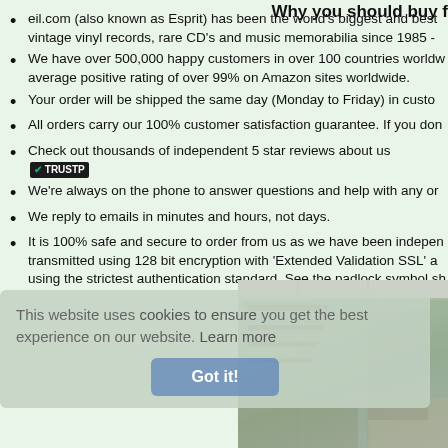Why you should buy from us
eil.com (also known as Esprit) has been the world's biggest and best vintage vinyl records, rare CD's and music memorabilia since 1985 -
We have over 500,000 happy customers in over 100 countries worldwide average positive rating of over 99% on Amazon sites worldwide.
Your order will be shipped the same day (Monday to Friday) in custom
All orders carry our 100% customer satisfaction guarantee. If you don
Check out thousands of independent 5 star reviews about us [TRUSTPILOT]
We're always on the phone to answer questions and help with any or
We reply to emails in minutes and hours, not days.
It is 100% safe and secure to order from us as we have been independently transmitted using 128 bit encryption with 'Extended Validation SSL' using the strictest authentication standard. See the padlock symbol sh
[Figure (photo): Interior photo of eil.com warehouse/office showing shelves of vinyl records and boxes]
This website uses cookies to ensure you get the best experience on our website. Learn more
Got it!